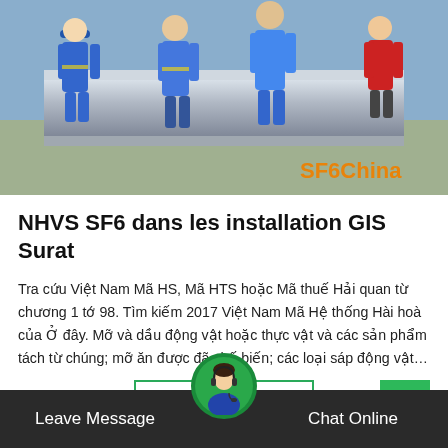[Figure (photo): Workers in blue coveralls and hard hats working on large industrial pipes/valves at a GIS installation site. One worker wears a blue hard hat. Text overlay reads 'SF6China' in orange in the bottom right corner.]
NHVS SF6 dans les installation GIS Surat
Tra cứu Việt Nam Mã HS, Mã HTS hoặc Mã thuế Hải quan từ chương 1 tớ 98. Tìm kiếm 2017 Việt Nam Mã Hệ thống Hài hoà của Ở đây. Mỡ và dầu động vật hoặc thực vật và các sản phẩm tách từ chúng; mỡ ăn được đã chế biến; các loại sáp động vật…
Get Price
Leave Message
Chat Online